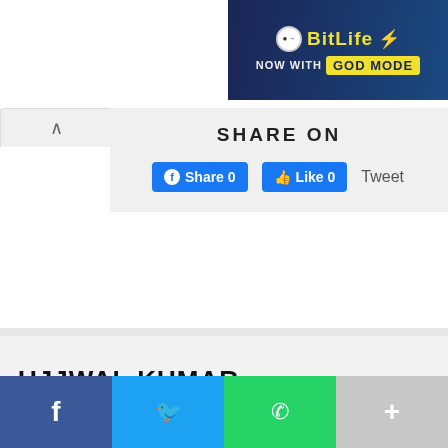[Figure (screenshot): BitLife advertisement banner — 'BitLife NOW WITH GOD MODE' on dark blue background, positioned top right]
SHARE ON
[Figure (screenshot): Facebook Share button with count 0]
[Figure (screenshot): Facebook Like button with count 0]
Tweet
UJJWAL KUMAR
[Figure (infographic): Bottom social share bar with Facebook (blue), Twitter (light blue), WhatsApp (green), and More (+) (gray) buttons]